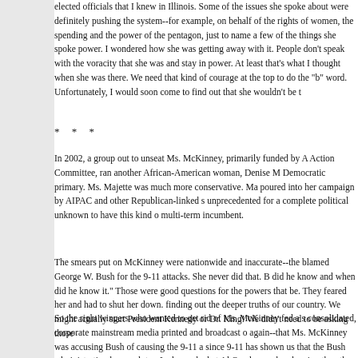elected officials that I knew in Illinois. Some of the issues she spoke about were definitely pushing the system--for example, on behalf of the rights of women, the spending and the power of the pentagon, just to name a few of the things she spoke power. I wondered how she was getting away with it. People don't speak with the voracity that she was and stay in power. At least that's what I thought when she was there. We need that kind of courage at the top to do the "b" word. Unfortunately, I would soon come to find out that she wouldn't be t
* * *
In 2002, a group out to unseat Ms. McKinney, primarily funded by A Action Committee, ran another African-American woman, Denise M Democratic primary. Ms. Majette was much more conservative. Ma poured into her campaign by AIPAC and other Republican-linked s unprecedented for a complete political unknown to have this kind o multi-term incumbent.
The smears put on McKinney were nationwide and inaccurate--the blamed George W. Bush for the 9-11 attacks. She never did that. B did he know and when did he know it." Those were good questions for the powers that be. They feared her and had to shut her down. finding out the deeper truths of our country. We might actually start President Kennedy or Dr. King! We didn't need to be asking those
So the right wingers who wanted to get rid of Ms. McKinney fed a s consolidated, corporate mainstream media printed and broadcast o again--that Ms. McKinney was accusing Bush of causing the 9-11 a since 9-11 has shown us that the Bush administration knew a lot m Laden and what Al Queda may be planning than they were admitti wasn't in the mood to blame Bush for the attacks, and there was pe